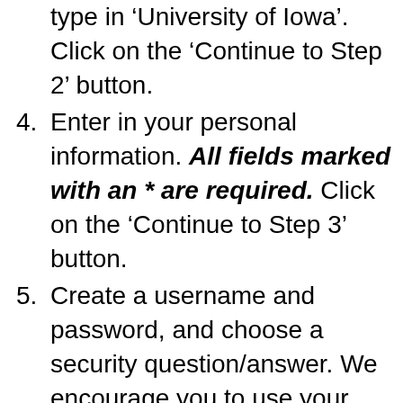type in 'University of Iowa'. Click on the 'Continue to Step 2' button.
4. Enter in your personal information. All fields marked with an * are required. Click on the 'Continue to Step 3' button.
5. Create a username and password, and choose a security question/answer. We encourage you to use your HawkID as your username, if it is available. Do not use your HawkID password as your CITI password. Choose something that is easy for you to remember.